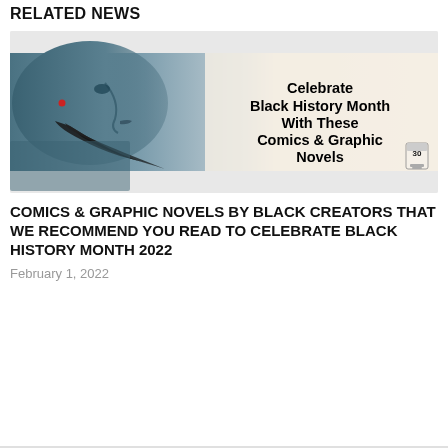RELATED NEWS
[Figure (illustration): Promotional banner image showing a close-up side profile of a blue-skinned figure with red earring and dark flowing hair, next to bold text reading 'Celebrate Black History Month With These Comics & Graphic Novels' with a '30' badge icon in the corner.]
COMICS & GRAPHIC NOVELS BY BLACK CREATORS THAT WE RECOMMEND YOU READ TO CELEBRATE BLACK HISTORY MONTH 2022
February 1, 2022